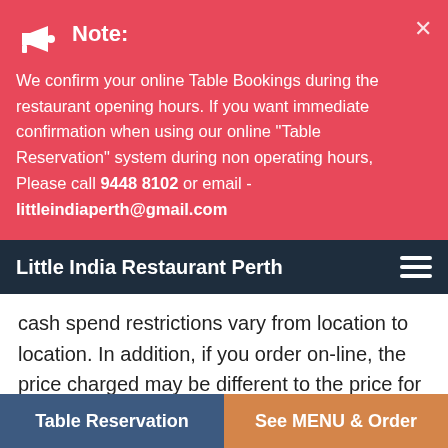Note: We confirm your online Table Bookings during the restaurant opening hours. If you want immediate confirmation when using our online "Table Reservation" system during non operating hours, Please call 9448 8102 or email - littleindiaperth@gmail.com
Little India Restaurant Perth
cash spend restrictions vary from location to location. In addition, if you order on-line, the price charged may be different to the price for the Products had they been ordered in-store or by telephone.
The online order once placed cannot be modified or cancelled either through the website or offline by calling the restaurant. Anyhow, if you wish to cancel or complain about your order, please call your local restaurant service location,
Table Reservation | See MENU & Order